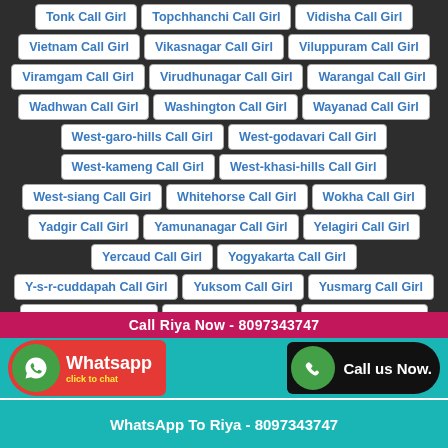Tonk Call Girl | Topchhanchi Call Girl | Vidisha Call Girl
Vietnam Call Girl | Vikasnagar Call Girl | Viluppuram Call Girl
Viramgam Call Girl | Virudhunagar Call Girl | Warangal Call Girl
Wadhwan Call Girl | Washington Call Girl | Wayanad Call Girl
West-garo-hills Call Girl | West-godavari Call Girl
West-kameng Call Girl | West-khasi-hills Call Girl
West-siang Call Girl | Whitehorse Call Girl | Wokha Call Girl
Yadgir Call Girl | Yamunanagar Call Girl | Yelagiri Call Girl
Yercaud Call Girl | Yogyakarta Call Girl
Y-s-r-cuddapah Call Girl | Yuksom Call Girl | Yusmarg Call Girl
Zunheboto Call Girl | Abu-dhabi Call Girl | Achalpur Call Girl
Adilabad Call Girl | Aihole Call Girl | Aizwal Call Girl
Ajman Call Girl | Akbarpur Call Girl | Al-ain Call Girl
Call Riya Now - 8097343747
Whatsapp click to chat
Call us Now.
WhatsApp To Riya - 8097343747